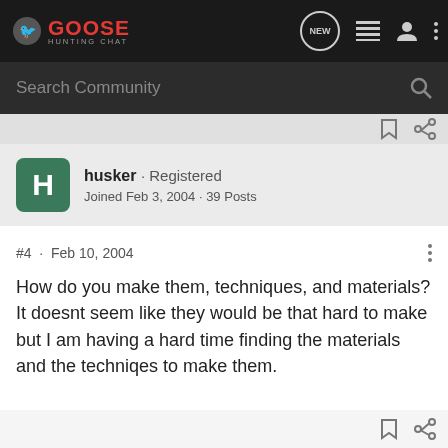GOOSE HUNTING CHAT
Search Community
husker · Registered
Joined Feb 3, 2004 · 39 Posts
#4 · Feb 10, 2004
How do you make them, techniques, and materials? It doesnt seem like they would be that hard to make but I am having a hard time finding the materials and the techniqes to make them.